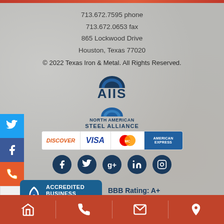713.672.7595 phone
713.672.0653 fax
865 Lockwood Drive
Houston, Texas 77020
© 2022 Texas Iron & Metal. All Rights Reserved.
[Figure (logo): AIIS logo with dome icon]
[Figure (logo): North American Steel Alliance logo with dome icon]
[Figure (logo): Payment methods: Discover, Visa, MasterCard, American Express]
[Figure (logo): Social media icons: Facebook, Twitter, Google+, LinkedIn, Instagram]
[Figure (logo): BBB Accredited Business badge]
BBB Rating: A+
As of 9/1/2022
Click for Profile
Home | Phone | Email | Location navigation bar